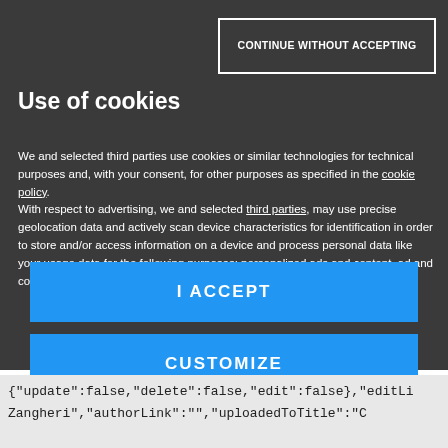CONTINUE WITHOUT ACCEPTING
Use of cookies
We and selected third parties use cookies or similar technologies for technical purposes and, with your consent, for other purposes as specified in the cookie policy.
With respect to advertising, we and selected third parties, may use precise geolocation data and actively scan device characteristics for identification in order to store and/or access information on a device and process personal data like your usage data for the following purposes: personalized ads and content, ad and content measurement, audience insights and product development.
I ACCEPT
CUSTOMIZE
[Figure (logo): Mondadori Media logo with red triangle icon]
{"update":false,"delete":false,"edit":false},"editLi Zangheri","authorLink":"","uploadedToTitle":"C